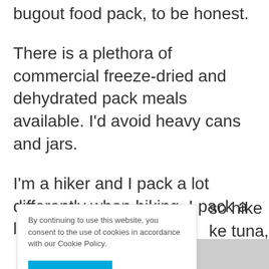bugout food pack, to be honest.
There is a plethora of commercial freeze-dried and dehydrated pack meals available. I'd avoid heavy cans and jars.
I'm a hiker and I pack a lot differently when hiking. I pack a lot of dehydrated
so hike ke tuna, s,
By continuing to use this website, you consent to the use of cookies in accordance with our Cookie Policy.
ACCEPT